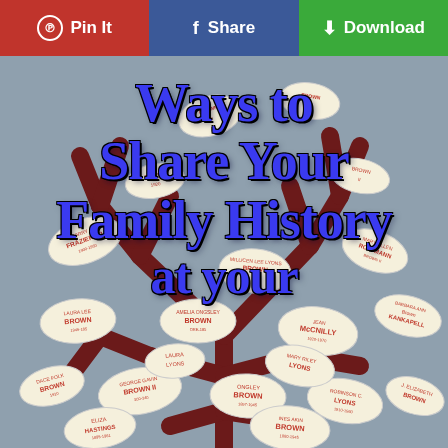Pin It  |  Share  |  Download
[Figure (photo): A decorative family tree illustration on a gray-blue background. The tree has dark reddish-brown branches with many leaf-shaped tags, each containing names such as FRAZIER JR, BROWN, LAURA LEE BROWN, AMELIA ONGSLEY BROWN, JEAN McCNILLS, BARBARA ANN KANKAPELL, GEORGE GAVIN BROWN II, ONGLEY BROWN, ROBINSON C., INES AKIN BROWN, and others. Overlaid in large bold blue text: 'Ways to Share Your Family History at your']